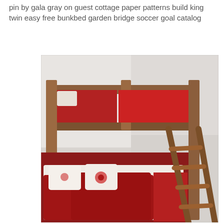pin by gala gray on guest cottage paper patterns build king twin easy free bunkbed garden bridge soccer goal catalog
[Figure (photo): A wooden bunk bed with red bedding and white decorative pillows on the lower bunk. The upper bunk has a red mattress/bedding. A wooden ladder leans against the right side of the bunk bed. The room has white walls.]